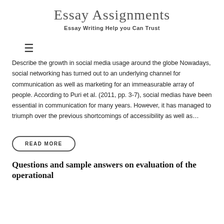Essay Assignments
Essay Writing Help you Can Trust
[Figure (other): Hamburger menu icon (three horizontal lines)]
Describe the growth in social media usage around the globe Nowadays, social networking has turned out to an underlying channel for communication as well as marketing for an immeasurable array of people. According to Puri et al. (2011, pp. 3-7), social medias have been essential in communication for many years. However, it has managed to triumph over the previous shortcomings of accessibility as well as…
READ MORE
Questions and sample answers on evaluation of the operational